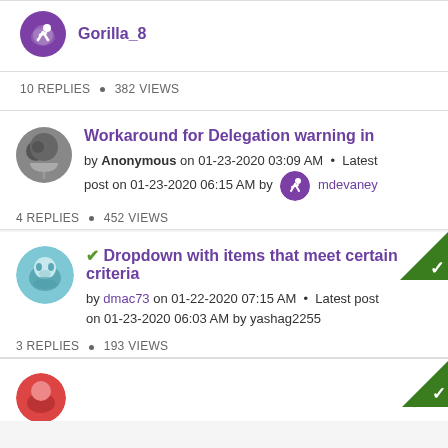Gorilla_8 · 10 REPLIES · 382 VIEWS
Workaround for Delegation warning in · by Anonymous on 01-23-2020 03:09 AM · Latest post on 01-23-2020 06:15 AM by mdevaney · 4 REPLIES · 452 VIEWS
✓ Dropdown with items that meet certain criteria · by dmac73 on 01-22-2020 07:15 AM · Latest post on 01-23-2020 06:03 AM by yashag2255 · 3 REPLIES · 193 VIEWS